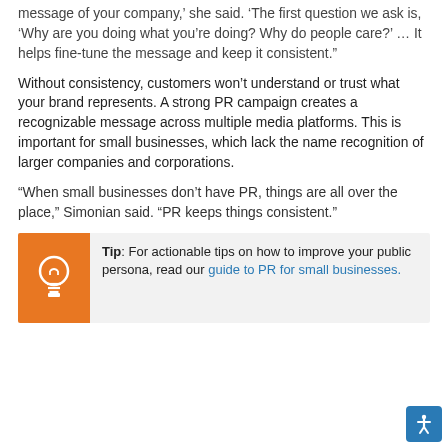message of your company,’ she said. ‘The first question we ask is, ‘Why are you doing what you’re doing? Why do people care?’ … It helps fine-tune the message and keep it consistent.”
Without consistency, customers won’t understand or trust what your brand represents. A strong PR campaign creates a recognizable message across multiple media platforms. This is important for small businesses, which lack the name recognition of larger companies and corporations.
“When small businesses don’t have PR, things are all over the place,” Simonian said. “PR keeps things consistent.”
Tip: For actionable tips on how to improve your public persona, read our guide to PR for small businesses.